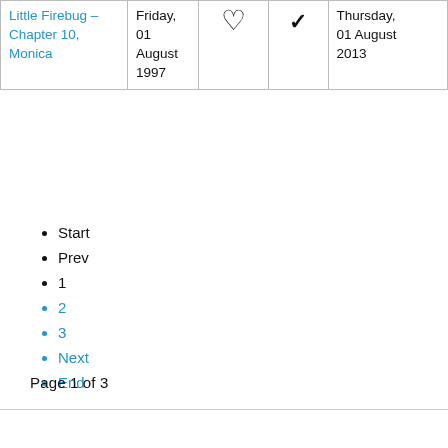| Title | Date | Favourite | Read | Date Added |
| --- | --- | --- | --- | --- |
| Little Firebug – Chapter 10, Monica | Friday, 01 August 1997 | ♡ | ✓ | Thursday, 01 August 2013 |
Start
Prev
1
2
3
Next
End
Page 1 of 3